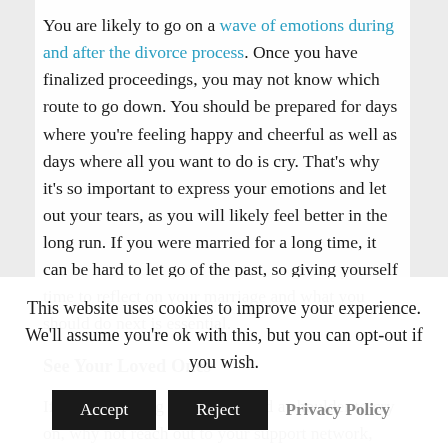You are likely to go on a wave of emotions during and after the divorce process. Once you have finalized proceedings, you may not know which route to go down. You should be prepared for days where you're feeling happy and cheerful as well as days where all you want to do is cry. That's why it's so important to express your emotions and let out your tears, as you will likely feel better in the long run. If you were married for a long time, it can be hard to let go of the past, so giving yourself time to reflect on your marriage and what you should do next is essential.
See Your Loved Ones
If you are feeling alone and need a shoulder to cry on, why not reach out to your support network, whether it be in the
This website uses cookies to improve your experience. We'll assume you're ok with this, but you can opt-out if you wish.